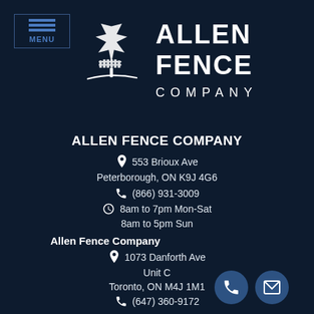[Figure (logo): Allen Fence Company logo with maple leaf and fence silhouette, white on dark navy background]
ALLEN FENCE COMPANY
553 Brioux Ave
Peterborough, ON K9J 4G6
(866) 931-3009
8am to 7pm Mon-Sat
8am to 5pm Sun
Allen Fence Company
1073 Danforth Ave
Unit C
Toronto, ON M4J 1M1
(647) 360-9172